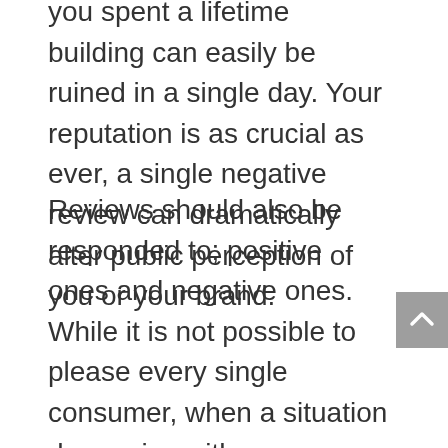you spent a lifetime building can easily be ruined in a single day. Your reputation is as crucial as ever, a single negative review can dramatically alter public perception of you or your brand.
Reviews should also be responded to; positive ones and negative ones. While it is not possible to please every single consumer, when a situation does arise with an unhappy consumer, you need to put your customer service hat on. How you respond to the negative review will impact your future, you may never win the reviewer back but the right efforts can gain you future business from the